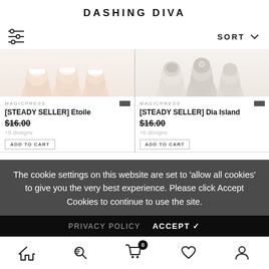DASHING DIVA
SORT
[Figure (screenshot): Product image left: nail art showing light pink/nude nails with white tips - MAGICPRESS [STEADY SELLER] Etoile]
MAGICPRESS
[STEADY SELLER] Etoile
$16.00
+5 designs
[Figure (screenshot): Product image right: nail art showing silver/glitter nails - MAGICPRESS [STEADY SELLER] Dia Island]
MAGICPRESS
[STEADY SELLER] Dia Island
$16.00
+6 designs
The cookie settings on this website are set to 'allow all cookies' to give you the very best experience. Please click Accept Cookies to continue to use the site.
PRIVACY POLICY   ACCEPT ✓